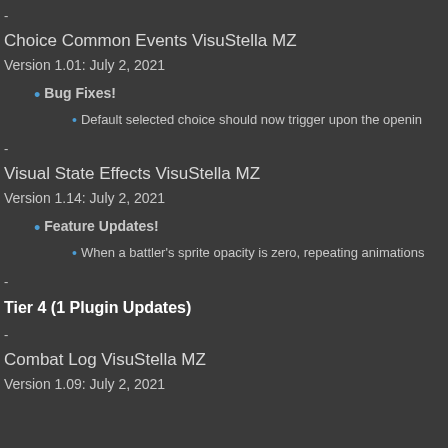-
Choice Common Events VisuStella MZ
Version 1.01: July 2, 2021
Bug Fixes!
Default selected choice should now trigger upon the opening
-
Visual State Effects VisuStella MZ
Version 1.14: July 2, 2021
Feature Updates!
When a battler's sprite opacity is zero, repeating animations
-
Tier 4 (1 Plugin Updates)
-
Combat Log VisuStella MZ
Version 1.09: July 2, 2021